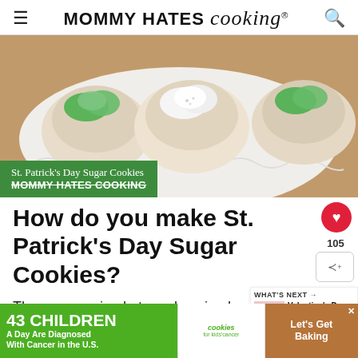MOMMY HATES cooking®
[Figure (photo): Photo of St. Patrick's Day sugar cookies with green and white frosting on a white plate, with text overlay reading 'St. Patrick's Day Sugar Cookies MOMMY HATES COOKING']
How do you make St. Patrick's Day Sugar Cookies?
They are so simple to make, simply wh... cookies then you can top them with festive f... and
[Figure (infographic): Advertisement: '43 CHILDREN A Day Are Diagnosed With Cancer in the U.S.' with Cookies for Kids' Cancer logo and 'Let's Get Baking' text]